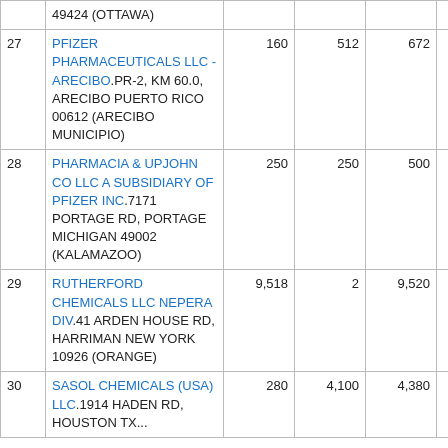| # | Name/Address | Col3 | Col4 | Col5 | Col6 |
| --- | --- | --- | --- | --- | --- |
|  | 49424 (OTTAWA) |  |  |  |  |
| 27 | PFIZER PHARMACEUTICALS LLC - ARECIBO.PR-2, KM 60.0, ARECIBO PUERTO RICO 00612 (ARECIBO MUNICIPIO) | 160 | 512 | 672 | 0 |
| 28 | PHARMACIA & UPJOHN CO LLC A SUBSIDIARY OF PFIZER INC.7171 PORTAGE RD, PORTAGE MICHIGAN 49002 (KALAMAZOO) | 250 | 250 | 500 | 0 |
| 29 | RUTHERFORD CHEMICALS LLC NEPERA DIV.41 ARDEN HOUSE RD, HARRIMAN NEW YORK 10926 (ORANGE) | 9,518 | 2 | 9,520 | . |
| 30 | SASOL CHEMICALS (USA) LLC.1914 HADEN RD, HOUSTON TX... | 280 | 4,100 | 4,380 | 0 |